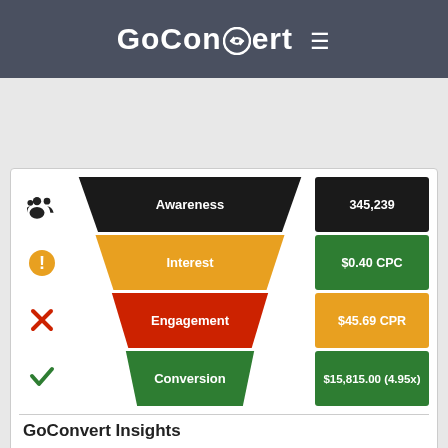GoConvert ≡
[Figure (infographic): Marketing funnel diagram with 4 stages: Awareness (345,239), Interest ($0.40 CPC), Engagement ($45.69 CPR), Conversion ($15,815.00 4.95x). Left column shows status icons: people icon, orange warning, red X, green checkmark.]
GoConvert Insights
Your click through rate (CTR) needs some work. 2% is considered average. To incre... Make it with...